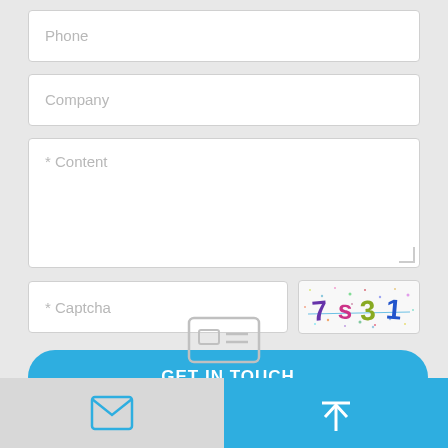Phone
Company
* Content
* Captcha
[Figure (other): CAPTCHA image showing text '7s31' with colorful distorted characters and noise dots]
GET IN TOUCH
[Figure (other): Gray business card / contact icon]
[Figure (other): Email envelope icon in blue outline style in bottom left bar]
[Figure (other): White upload/scroll-to-top arrow icon in blue bottom right bar]